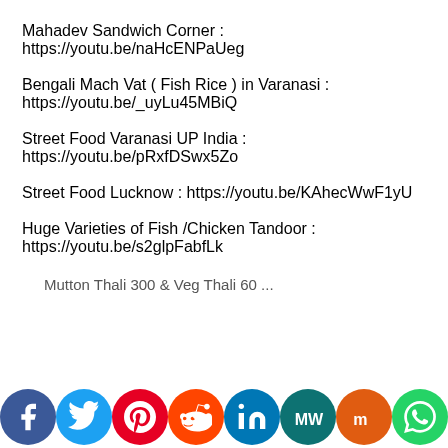Mahadev Sandwich Corner : https://youtu.be/naHcENPaUeg
Bengali Mach Vat ( Fish Rice ) in Varanasi : https://youtu.be/_uyLu45MBiQ
Street Food Varanasi UP India : https://youtu.be/pRxfDSwx5Zo
Street Food Lucknow : https://youtu.be/KAhecWwF1yU
Huge Varieties of Fish /Chicken Tandoor : https://youtu.be/s2glpFabfLk
Mutton Thali 300 & Veg Thali 60 ...